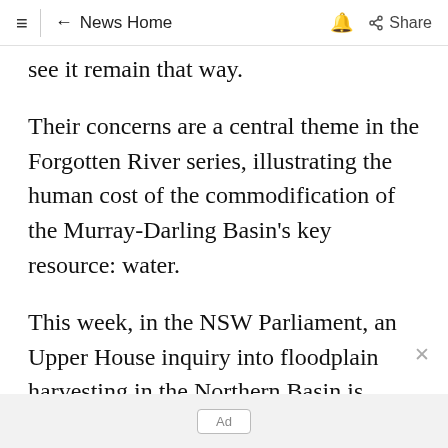≡  ← News Home  🔔  Share
see it remain that way.
Their concerns are a central theme in the Forgotten River series, illustrating the human cost of the commodification of the Murray-Darling Basin's key resource: water.
This week, in the NSW Parliament, an Upper House inquiry into floodplain harvesting in the Northern Basin is conducting public hearings. Questions are being raised about whether the water diverted from the river system durin—